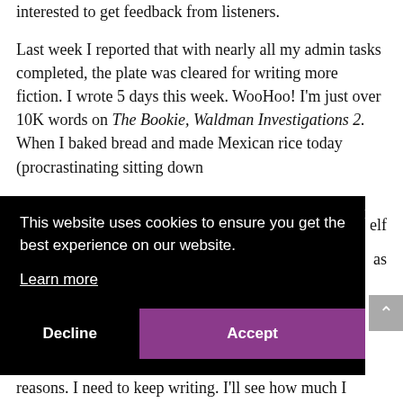interested to get feedback from listeners. Last week I reported that with nearly all my admin tasks completed, the plate was cleared for writing more fiction. I wrote 5 days this week. WooHoo! I'm just over 10K words on The Bookie, Waldman Investigations 2. When I baked bread and made Mexican rice today (procrastinating sitting down
[Figure (screenshot): Cookie consent popup overlay with black background containing text 'This website uses cookies to ensure you get the best experience on our website.', a 'Learn more' underlined link, and two buttons: 'Decline' (dark) and 'Accept' (purple/mauve). A close X button appears in the top right corner of the overlay.]
reasons. I need to keep writing. I'll see how much I